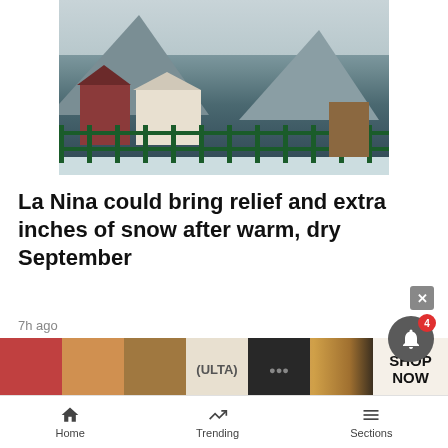[Figure (photo): Snowy mountain town scene with buildings, a green metal fence in the foreground, mountains in the background, and overcast sky]
La Nina could bring relief and extra inches of snow after warm, dry September
7h ago
[Figure (photo): Thumbnail image for article about stolen credit cards and identities used to book vacation rentals in Summit County]
Use of stolen credit cards and identities to book vacation rentals in Summit County
[Figure (infographic): ULTA Beauty advertisement banner with SHOP NOW call to action]
Home   Trending   Sections